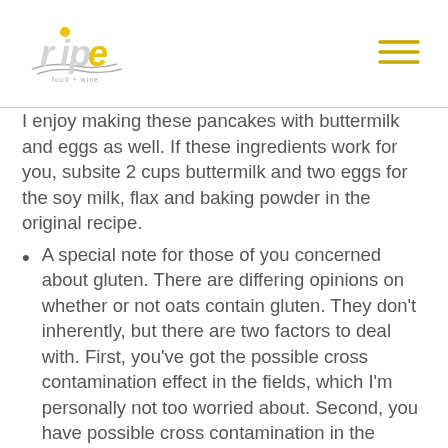ripe — logo and navigation
I enjoy making these pancakes with buttermilk and eggs as well. If these ingredients work for you, subsite 2 cups buttermilk and two eggs for the soy milk, flax and baking powder in the original recipe.
A special note for those of you concerned about gluten. There are differing opinions on whether or not oats contain gluten. They don't inherently, but there are two factors to deal with. First, you've got the possible cross contamination effect in the fields, which I'm personally not too worried about. Second, you have possible cross contamination in the milling and